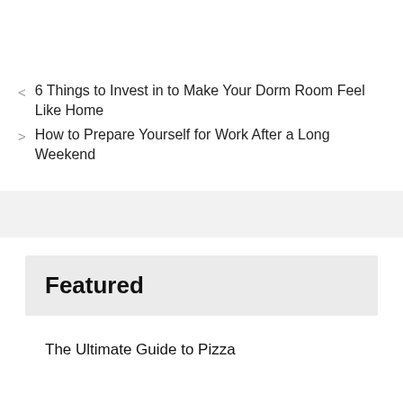< 6 Things to Invest in to Make Your Dorm Room Feel Like Home
> How to Prepare Yourself for Work After a Long Weekend
Featured
The Ultimate Guide to Pizza